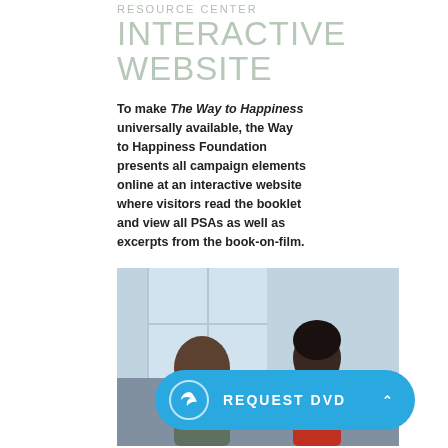RESOURCE CENTER INTERACTIVE WEBSITE
To make The Way to Happiness universally available, the Way to Happiness Foundation presents all campaign elements online at an interactive website where visitors read the booklet and view all PSAs as well as excerpts from the book-on-film.
[Figure (photo): Two people (a man and a woman) looking at a laptop screen together, appearing to browse a website.]
REQUEST DVD